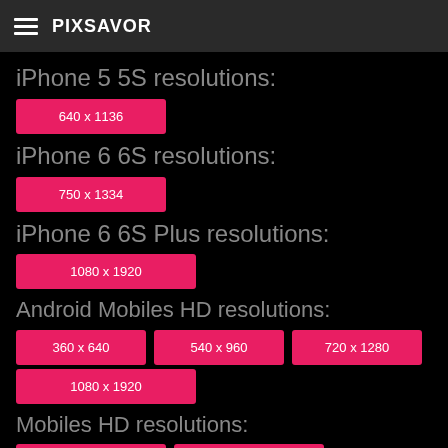PIXSAVOR
iPhone 5 5S resolutions:
640 x 1136
iPhone 6 6S resolutions:
750 x 1334
iPhone 6 6S Plus resolutions:
1080 x 1920
Android Mobiles HD resolutions:
360 x 640
540 x 960
720 x 1280
1080 x 1920
Mobiles HD resolutions:
480 x 800
768 x 1280